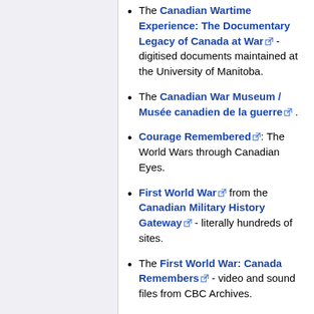The Canadian Wartime Experience: The Documentary Legacy of Canada at War [ext] - digitised documents maintained at the University of Manitoba.
The Canadian War Museum / Musée canadien de la guerre [ext] .
Courage Remembered [ext]: The World Wars through Canadian Eyes.
First World War [ext] from the Canadian Military History Gateway [ext] - literally hundreds of sites.
The First World War: Canada Remembers [ext] - video and sound files from CBC Archives.
For King and Empire: Canada's Soldiers in the Great War [ext]
From Colony to Country: A Reader's Guide to Canadian